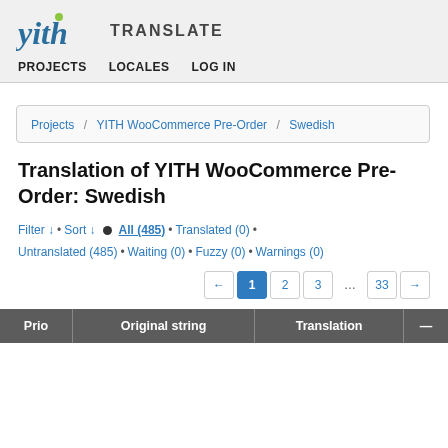[Figure (logo): YITH Translate logo with stylized 'yith' in teal italic and 'TRANSLATE' in dark uppercase]
PROJECTS   LOCALES   LOG IN
Projects / YITH WooCommerce Pre-Order / Swedish
Translation of YITH WooCommerce Pre-Order: Swedish
Filter ↓ • Sort ↓ • All (485) • Translated (0) • Untranslated (485) • Waiting (0) • Fuzzy (0) • Warnings (0)
← 1 2 3 … 33 →
| Prio | Original string | Translation | — |
| --- | --- | --- | --- |